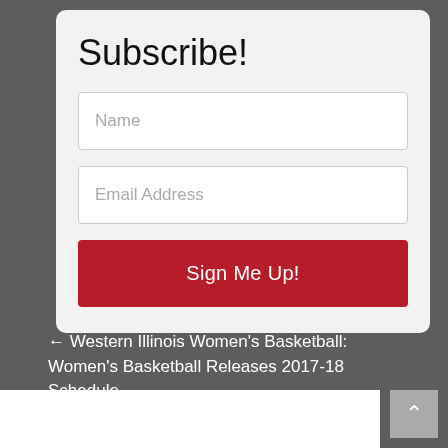Subscribe!
Name
Email Address
Sign Me Up!
← Western Illinois Women's Basketball: Women's Basketball Releases 2017-18 Schedule
Monmouth's SID Nolan Talks MC Sports →